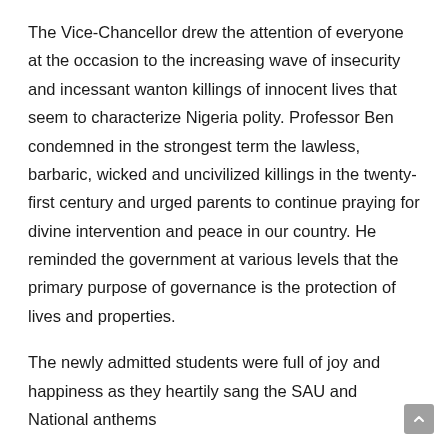The Vice-Chancellor drew the attention of everyone at the occasion to the increasing wave of insecurity and incessant wanton killings of innocent lives that seem to characterize Nigeria polity. Professor Ben condemned in the strongest term the lawless, barbaric, wicked and uncivilized killings in the twenty-first century and urged parents to continue praying for divine intervention and peace in our country. He reminded the government at various levels that the primary purpose of governance is the protection of lives and properties.
The newly admitted students were full of joy and happiness as they heartily sang the SAU and National anthems